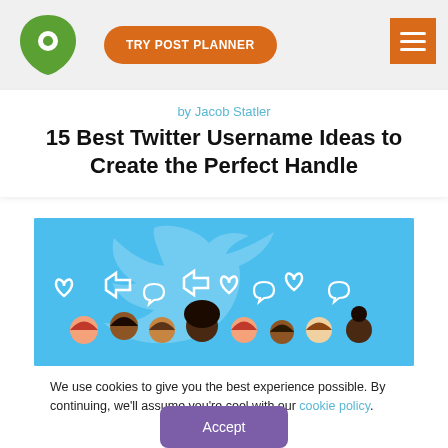[Figure (screenshot): Post Planner website header with green logo, orange 'TRY POST PLANNER' button, and orange hamburger menu button]
by Jacob Statler
15 Best Twitter Username Ideas to Create the Perfect Handle
[Figure (illustration): Blue banner with Twitter bird logo and illustrated diverse people with social media icons (hearts, retweet, speech bubbles)]
We use cookies to give you the best experience possible. By continuing, we'll assume you're cool with our cookie policy.
Accept